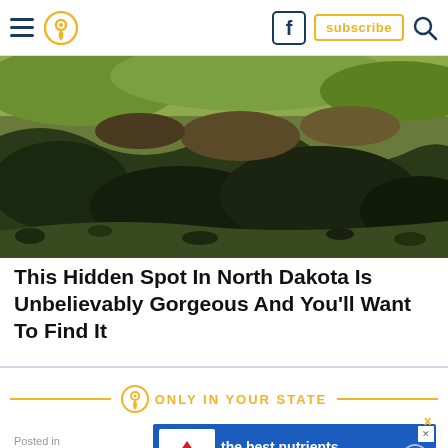Navigation bar with hamburger menu, location pin icon, Facebook button, subscribe button, search icon
[Figure (photo): Aerial/elevated landscape photo showing rugged North Dakota badlands terrain with dark rocky hills, scrub vegetation, and rolling greenish-brown landscape]
This Hidden Spot In North Dakota Is Unbelievably Gorgeous And You'll Want To Find It
[Figure (logo): Only In Your State brand logo with location pin icon and golden text 'ONLY IN YOUR STATE' flanked by gold horizontal rules]
Posted in
[Figure (screenshot): Advertisement banner for Hill's pet food: blue background with Hill's logo and text 'the best nutrients for their best life' with play arrow]
This Hidden Spot In North Dakota Is Unbelievably Gorgeous And